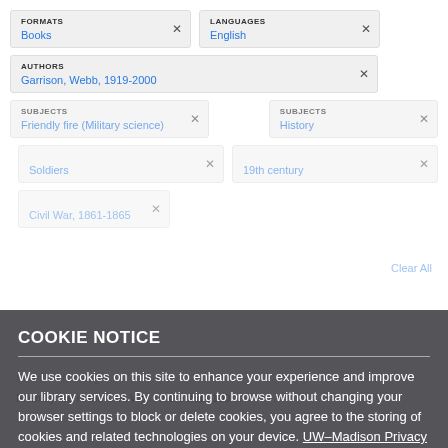FORMATS Books ×
LANGUAGES English ×
AUTHORS Garrison, Webb, 1919-2000 ×
SUBJECTS Friendly fire (Military science) ×
SUBJECTS History ×
SUBJECTS Soldiers ×
TIME PERIODS 19th century ×
Civil War, 1861-1865 ×
Clear All
COOKIE NOTICE
We use cookies on this site to enhance your experience and improve our library services. By continuing to browse without changing your browser settings to block or delete cookies, you agree to the storing of cookies and related technologies on your device. UW–Madison Privacy Notice
GOT IT!
Search > Catalog >
Friendly fire in the Civil War : more than 100 ...